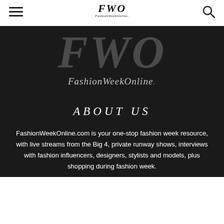FWO FashionWeekOnline.
[Figure (logo): Large FWO FashionWeekOnline. logo in dark gray/white on dark background]
ABOUT US
FashionWeekOnline.com is your one-stop fashion week resource, with live streams from the Big 4, private runway shows, interviews with fashion influencers, designers, stylists and models, plus shopping during fashion week.